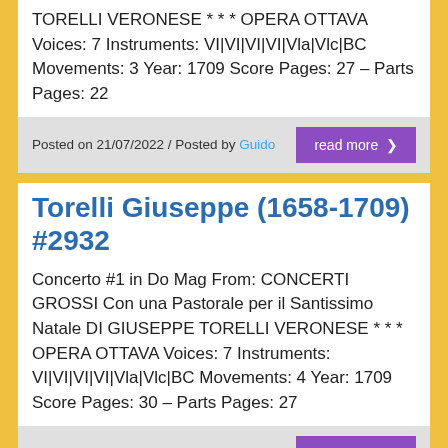TORELLI VERONESE * * * OPERA OTTAVA Voices: 7 Instruments: VI|VI|VI|VI|VIa|VIc|BC Movements: 3 Year: 1709 Score Pages: 27 – Parts Pages: 22
Posted on 21/07/2022 / Posted by Guido
read more ›
Torelli Giuseppe (1658-1709) #2932
Concerto #1 in Do Mag From: CONCERTI GROSSI Con una Pastorale per il Santissimo Natale DI GIUSEPPE TORELLI VERONESE * * * OPERA OTTAVA Voices: 7 Instruments: VI|VI|VI|VI|VIa|VIc|BC Movements: 4 Year: 1709 Score Pages: 30 – Parts Pages: 27
Posted on 21/07/2022 / Posted by Guido
read more ›
Hoffmeister Franz Anton (1754-1812) #2931